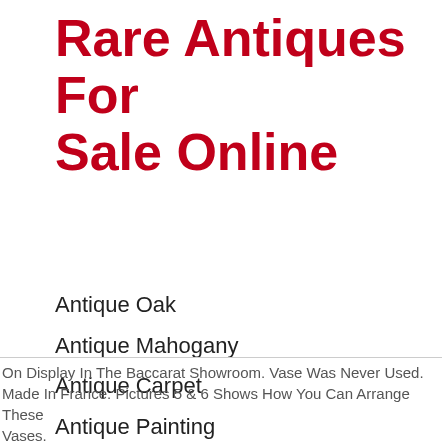Rare Antiques For Sale Online
Antique Oak
Antique Mahogany
Antique Carpet
Antique Painting
Antique Glass
Antique Plate
On Display In The Baccarat Showroom. Vase Was Never Used. Made In France. Pictures 5 & 6 Shows How You Can Arrange These Vases.